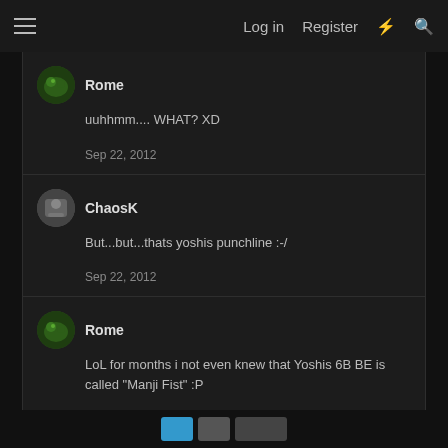Log in  Register
Rome
uuhhmm.... WHAT? XD
Sep 22, 2012
ChaosK
But...but...thats yoshis punchline :-/
Sep 22, 2012
Rome
LoL for months i not even knew that Yoshis 6B BE is called "Manji Fist" :P
Yep! I´m a big Yoshi nerd XD
Sep 22, 2012
page navigation buttons